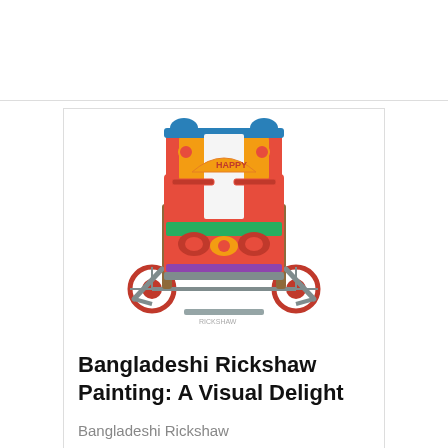[Figure (photo): A colorful, ornately decorated Bangladeshi rickshaw viewed from the front/rear, featuring elaborate folk art paintings with reds, oranges, blues, and greens on a white background.]
Bangladeshi Rickshaw Painting: A Visual Delight
Bangladeshi Rickshaw Painting: A Visual Delight By Sadia Noor Joya